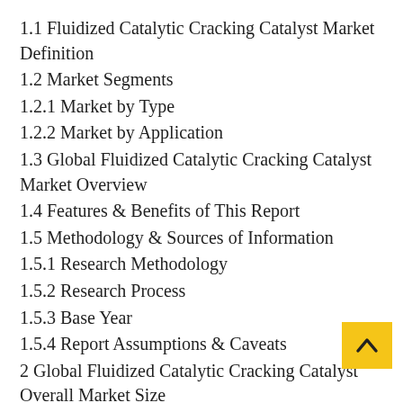1.1 Fluidized Catalytic Cracking Catalyst Market Definition
1.2 Market Segments
1.2.1 Market by Type
1.2.2 Market by Application
1.3 Global Fluidized Catalytic Cracking Catalyst Market Overview
1.4 Features & Benefits of This Report
1.5 Methodology & Sources of Information
1.5.1 Research Methodology
1.5.2 Research Process
1.5.3 Base Year
1.5.4 Report Assumptions & Caveats
2 Global Fluidized Catalytic Cracking Catalyst Overall Market Size
2.1 Global Fluidized Catalytic Cracking